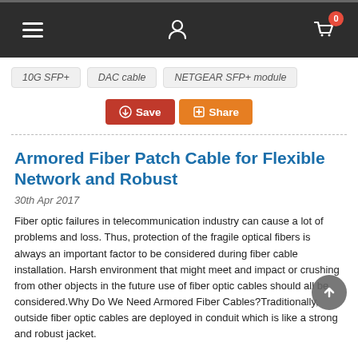Navigation bar with menu, user, and cart (0 items)
10G SFP+
DAC cable
NETGEAR SFP+ module
Save | Share
Armored Fiber Patch Cable for Flexible Network and Robust
30th Apr 2017
Fiber optic failures in telecommunication industry can cause a lot of problems and loss. Thus, protection of the fragile optical fibers is always an important factor to be considered during fiber cable installation. Harsh environment that might meet and impact or crushing from other objects in the future use of fiber optic cables should all be considered.Why Do We Need Armored Fiber Cables?Traditionally, outside fiber optic cables are deployed in conduit which is like a strong and robust jacket.